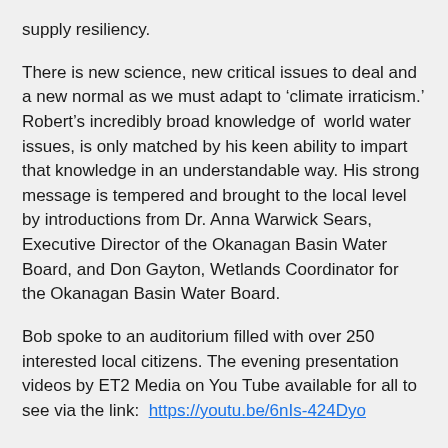supply resiliency.
There is new science, new critical issues to deal and a new normal as we must adapt to ‘climate irraticism.’ Robert’s incredibly broad knowledge of world water issues, is only matched by his keen ability to impart that knowledge in an understandable way. His strong message is tempered and brought to the local level by introductions from Dr. Anna Warwick Sears, Executive Director of the Okanagan Basin Water Board, and Don Gayton, Wetlands Coordinator for the Okanagan Basin Water Board.
Bob spoke to an auditorium filled with over 250 interested local citizens. The evening presentation videos by ET2 Media on You Tube available for all to see via the link:  https://youtu.be/6nIs-424Dyo